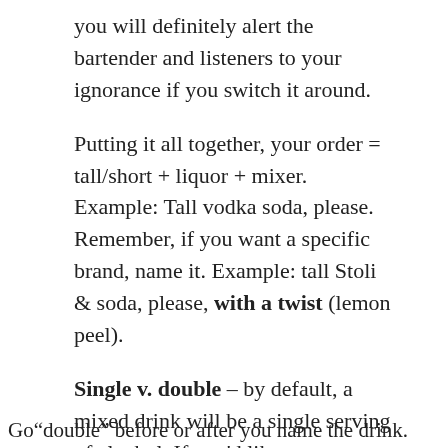you will definitely alert the bartender and listeners to your ignorance if you switch it around.
Putting it all together, your order = tall/short + liquor + mixer. Example: Tall vodka soda, please. Remember, if you want a specific brand, name it. Example: tall Stoli & soda, please, with a twist (lemon peel).
Single v. double – by default, a mixed drink will be a single serving of alcohol. If you'd like two servings, order a double. You can add the "double" before or after you name the drink.
Go